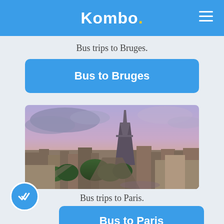Kombo.
Bus trips to Bruges.
Bus to Bruges
[Figure (photo): Aerial view of Paris skyline with Eiffel Tower at dusk, purple and pink clouds in background]
Bus trips to Paris.
Bus to Paris